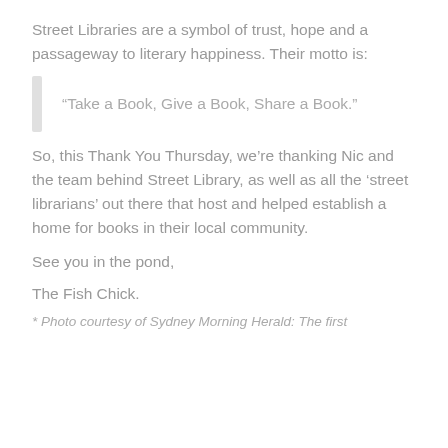Street Libraries are a symbol of trust, hope and a passageway to literary happiness. Their motto is:
“Take a Book, Give a Book, Share a Book.”
So, this Thank You Thursday, we’re thanking Nic and the team behind Street Library, as well as all the ‘street librarians’ out there that host and helped establish a home for books in their local community.
See you in the pond,
The Fish Chick.
* Photo courtesy of Sydney Morning Herald: The first